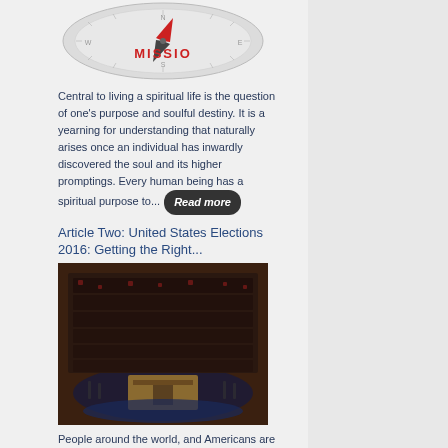[Figure (photo): A compass with red needle pointing toward 'MISSION' text in red letters, against a grey metallic background]
Central to living a spiritual life is the question of one's purpose and soulful destiny. It is a yearning for understanding that naturally arises once an individual has inwardly discovered the soul and its higher promptings. Every human being has a spiritual purpose to... Read more
Article Two: United States Elections 2016: Getting the Right...
[Figure (photo): Aerial overhead view of the United States Congress chamber filled with members, showing the tiered seating arrangement and the floor area with a speaker's podium]
People around the world, and Americans are no exception, often relate to their elected...